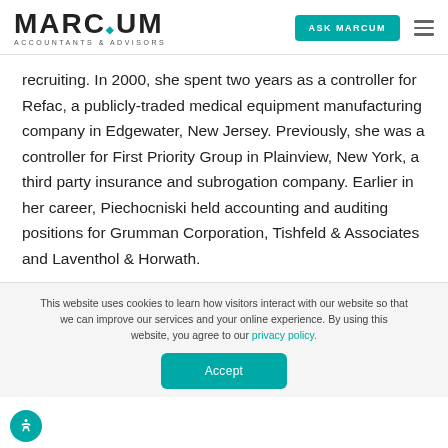MARCUM ACCOUNTANTS & ADVISORS | ASK MARCUM
recruiting. In 2000, she spent two years as a controller for Refac, a publicly-traded medical equipment manufacturing company in Edgewater, New Jersey. Previously, she was a controller for First Priority Group in Plainview, New York, a third party insurance and subrogation company. Earlier in her career, Piechocniski held accounting and auditing positions for Grumman Corporation, Tishfeld & Associates and Laventhol & Horwath.
This website uses cookies to learn how visitors interact with our website so that we can improve our services and your online experience. By using this website, you agree to our privacy policy.
Accept